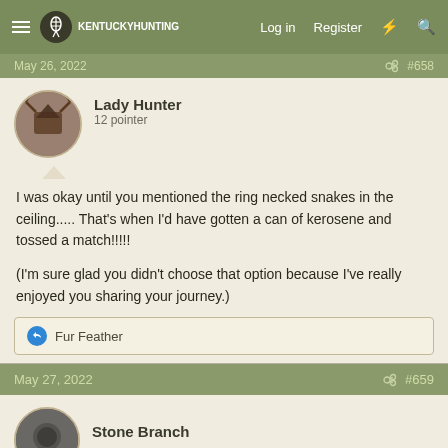Kentucky Hunting — Log in  Register
May 26, 2022  #658
Lady Hunter
12 pointer
I was okay until you mentioned the ring necked snakes in the ceiling..... That's when I'd have gotten a can of kerosene and tossed a match!!!!!

(I'm sure glad you didn't choose that option because I've really enjoyed you sharing your journey.)
Fur Feather
May 27, 2022  #659
Stone Branch